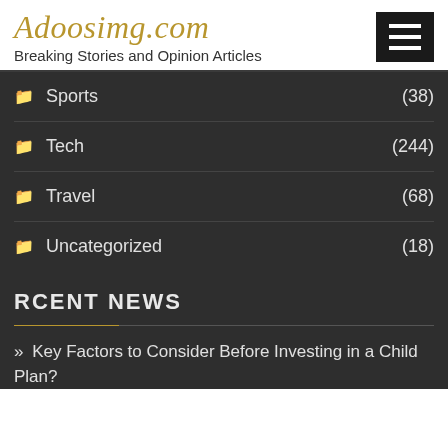Adoosimg.com
Breaking Stories and Opinion Articles
Sports (38)
Tech (244)
Travel (68)
Uncategorized (18)
RCENT NEWS
» Key Factors to Consider Before Investing in a Child Plan?